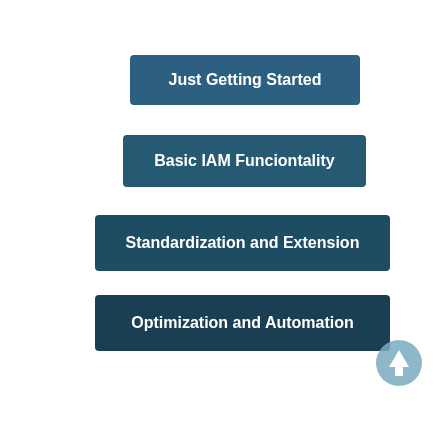[Figure (infographic): Four stacked horizontal buttons/boxes representing IAM maturity stages: 'Just Getting Started', 'Basic IAM Funciontality', 'Standardization and Extension', 'Optimization and Automation', with an upward arrow icon at bottom right.]